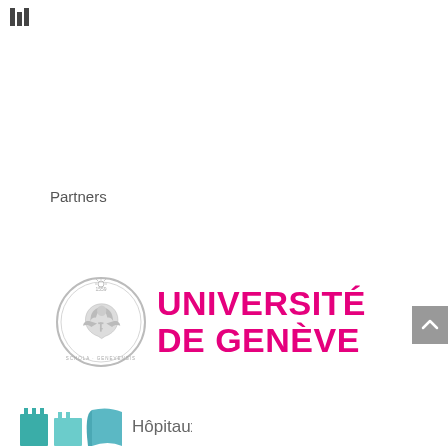[Figure (logo): Small grid/table icon in top-left corner]
Partners
[Figure (logo): Université de Genève logo: grey circular seal on left, bold pink/magenta text 'UNIVERSITÉ DE GENÈVE' on right]
[Figure (logo): Hôpitaux logo at bottom with teal/colored building icons and partial text 'Hôpitaux']